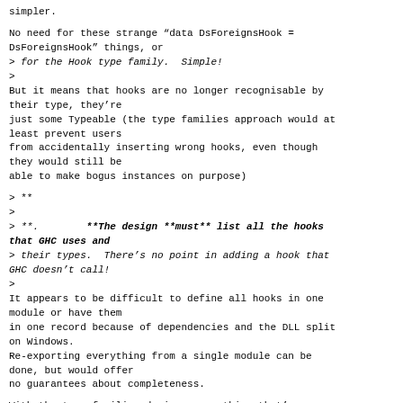simpler.
No need for these strange “data DsForeignsHook = DsForeignsHook” things, or
> for the Hook type family.  Simple!
>
But it means that hooks are no longer recognisable by their type, they're
just some Typeable (the type families approach would at least prevent users
from accidentally inserting wrong hooks, even though they would still be
able to make bogus instances on purpose)
> **
>
> **.        **The design **must** list all the hooks that GHC uses and
> their types.  There’s no point in adding a hook that GHC doesn’t call!
>
It appears to be difficult to define all hooks in one module or have them
in one record because of dependencies and the DLL split on Windows.
Re-exporting everything from a single module can be done, but would offer
no guarantees about completeness.
With the type families design, everything that's an
instance of the ...